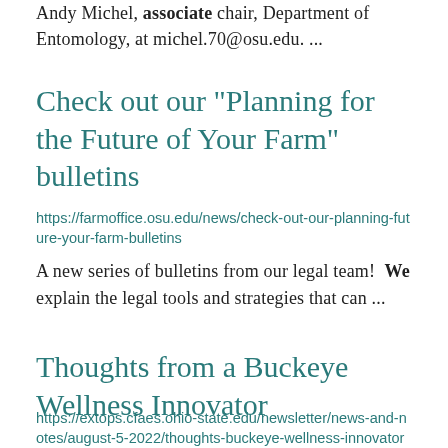Andy Michel, associate chair, Department of Entomology, at michel.70@osu.edu. ...
Check out our "Planning for the Future of Your Farm" bulletins
https://farmoffice.osu.edu/news/check-out-our-planning-future-your-farm-bulletins
A new series of bulletins from our legal team!  We explain the legal tools and strategies that can ...
Thoughts from a Buckeye Wellness Innovator
https://extops.cfaes.ohio-state.edu/newsletter/news-and-notes/august-5-2022/thoughts-buckeye-wellness-innovator